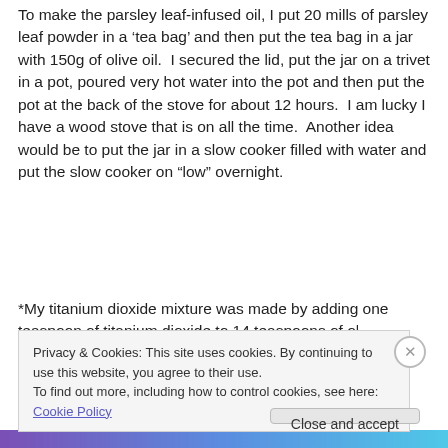To make the parsley leaf-infused oil, I put 20 mills of parsley leaf powder in a 'tea bag' and then put the tea bag in a jar with 150g of olive oil.  I secured the lid, put the jar on a trivet in a pot, poured very hot water into the pot and then put the pot at the back of the stove for about 12 hours.  I am lucky I have a wood stove that is on all the time.  Another idea would be to put the jar in a slow cooker filled with water and put the slow cooker on “low” overnight.
*My titanium dioxide mixture was made by adding one teaspoon of titanium dioxide to 14 teaspoons of olive oil
Privacy & Cookies: This site uses cookies. By continuing to use this website, you agree to their use.
To find out more, including how to control cookies, see here: Cookie Policy